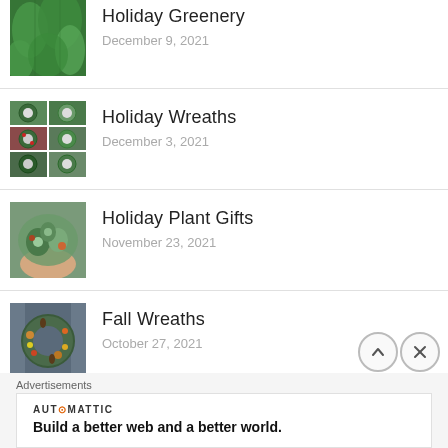[Figure (photo): Partial thumbnail of holiday greenery (green foliage/cedar)]
Holiday Greenery
December 9, 2021
[Figure (photo): Collage of holiday wreaths]
Holiday Wreaths
December 3, 2021
[Figure (photo): Holiday plant gifts - succulents and plants in hand]
Holiday Plant Gifts
November 23, 2021
[Figure (photo): Fall wreaths - autumn arrangement on door]
Fall Wreaths
October 27, 2021
Advertisements
AUT⊙MATTIC — Build a better web and a better world.